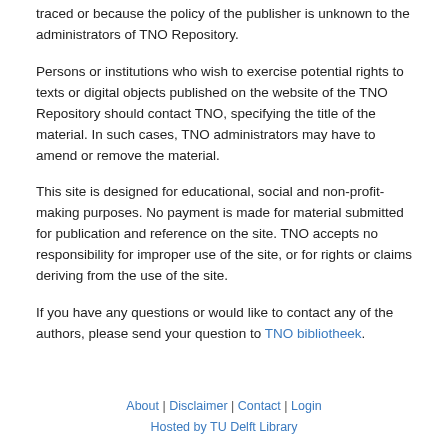traced or because the policy of the publisher is unknown to the administrators of TNO Repository.
Persons or institutions who wish to exercise potential rights to texts or digital objects published on the website of the TNO Repository should contact TNO, specifying the title of the material. In such cases, TNO administrators may have to amend or remove the material.
This site is designed for educational, social and non-profit-making purposes. No payment is made for material submitted for publication and reference on the site. TNO accepts no responsibility for improper use of the site, or for rights or claims deriving from the use of the site.
If you have any questions or would like to contact any of the authors, please send your question to TNO bibliotheek.
About | Disclaimer | Contact | Login
Hosted by TU Delft Library